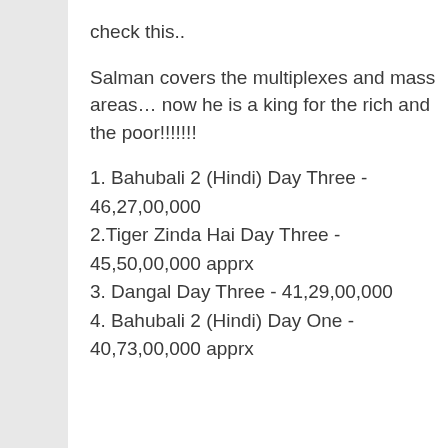check this..
Salman covers the multiplexes and mass areas… now he is a king for the rich and the poor!!!!!!!
1. Bahubali 2 (Hindi) Day Three - 46,27,00,000
2.Tiger Zinda Hai Day Three - 45,50,00,000 apprx
3. Dangal Day Three - 41,29,00,000
4. Bahubali 2 (Hindi) Day One - 40,73,00,000 apprx